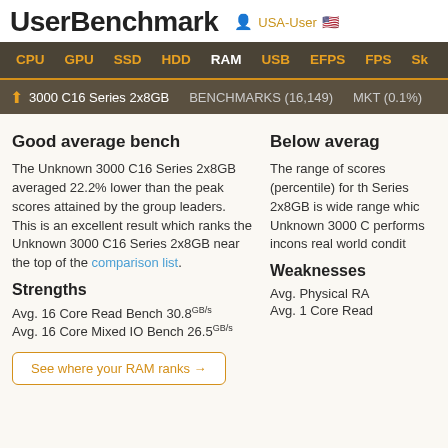UserBenchmark — USA-User
CPU  GPU  SSD  HDD  RAM  USB  EFPS  FPS  Sk
↑ 3000 C16 Series 2x8GB   BENCHMARKS (16,149)   MKT (0.1%)
Good average bench
The Unknown 3000 C16 Series 2x8GB averaged 22.2% lower than the peak scores attained by the group leaders. This is an excellent result which ranks the Unknown 3000 C16 Series 2x8GB near the top of the comparison list.
Strengths
Avg. 16 Core Read Bench 30.8GB/s
Avg. 16 Core Mixed IO Bench 26.5GB/s
See where your RAM ranks →
Below averag
The range of scores (percentile) for the Series 2x8GB is wide range which Unknown 3000 C performs inconsistently real world conditions.
Weaknesses
Avg. Physical RA
Avg. 1 Core Read